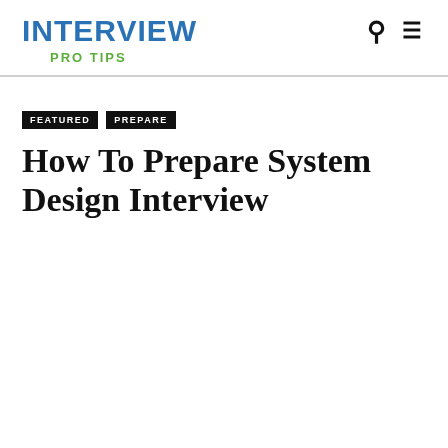INTERVIEW PRO TIPS
FEATURED
PREPARE
How To Prepare System Design Interview